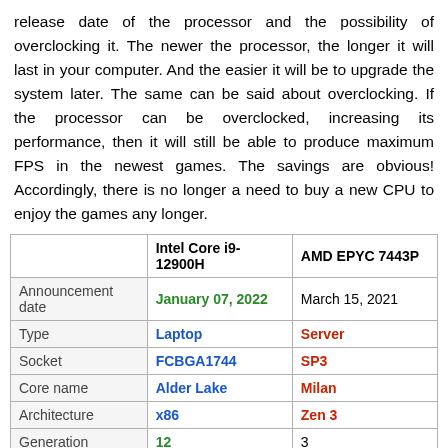release date of the processor and the possibility of overclocking it. The newer the processor, the longer it will last in your computer. And the easier it will be to upgrade the system later. The same can be said about overclocking. If the processor can be overclocked, increasing its performance, then it will still be able to produce maximum FPS in the newest games. The savings are obvious! Accordingly, there is no longer a need to buy a new CPU to enjoy the games any longer.
|  | Intel Core i9-12900H | AMD EPYC 7443P |
| --- | --- | --- |
| Announcement date | January 07, 2022 | March 15, 2021 |
| Type | Laptop | Server |
| Socket | FCBGA1744 | SP3 |
| Core name | Alder Lake | Milan |
| Architecture | x86 | Zen 3 |
| Generation | 12 | 3 |
| Turbo Frequency | 5 MHz | 4 MHz |
| Frequency | 3.8 MHz | 2.85 MHz |
| Cores | 14 | 24 |
| Threads | 20 | 48 |